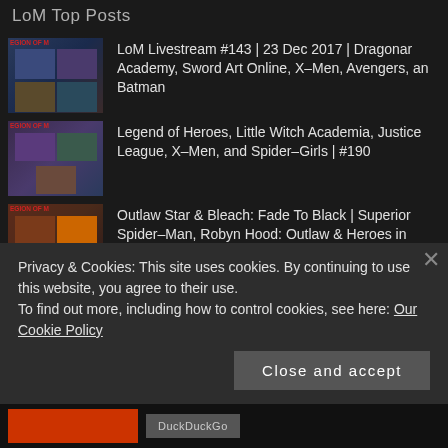LoM Top Posts
LoM Livestream #143 | 23 Dec 2017 | Dragonar Academy, Sword Art Online, X-Men, Avengers, and Batman
Legend of Heroes, Little Witch Academia, Justice League, X-Men, and Spider-Girls | #190
Outlaw Star & Bleach: Fade To Black | Superior Spider-Man, Robyn Hood: Outlaw & Heroes in Crisis
How to make AMAZING ANIME in 5 steps
Review – BLACK CAT #3 – A 🐱🐱🐱½ fun Marvel comic with a ghost dog 🐶
Privacy & Cookies: This site uses cookies. By continuing to use this website, you agree to their use.
To find out more, including how to control cookies, see here: Our Cookie Policy
Close and accept